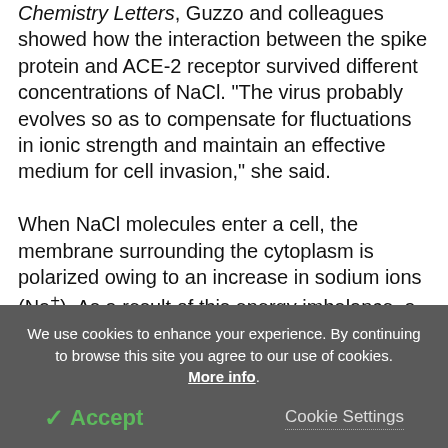Chemistry Letters, Guzzo and colleagues showed how the interaction between the spike protein and ACE-2 receptor survived different concentrations of NaCl. "The virus probably evolves so as to compensate for fluctuations in ionic strength and maintain an effective medium for cell invasion," she said.

When NaCl molecules enter a cell, the membrane surrounding the cytoplasm is polarized owing to an increase in sodium ions (Na+). As a result of this energy imbalance, a large amount of the cell's potassium (K+) is ejected to restore a balance of charges in the
We use cookies to enhance your experience. By continuing to browse this site you agree to our use of cookies. More info.